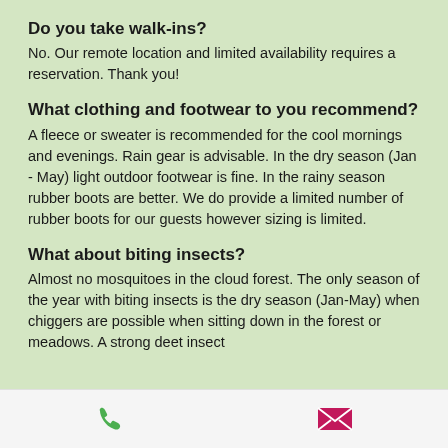Do you take walk-ins?
No. Our remote location and limited availability requires a reservation. Thank you!
What clothing and footwear to you recommend?
A fleece or sweater is recommended for the cool mornings and evenings. Rain gear is advisable. In the dry season (Jan - May) light outdoor footwear is fine. In the rainy season rubber boots are better. We do provide a limited number of rubber boots for our guests however sizing is limited.
What about biting insects?
Almost no mosquitoes in the cloud forest. The only season of the year with biting insects is the dry season (Jan-May) when chiggers are possible when sitting down in the forest or meadows. A strong deet insect